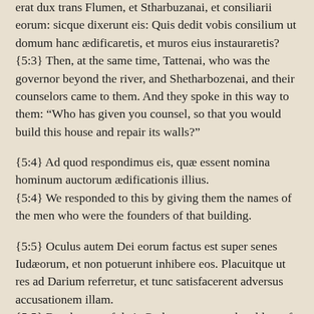erat dux trans Flumen, et Stharbuzanai, et consiliarii eorum: sicque dixerunt eis: Quis dedit vobis consilium ut domum hanc ædificaretis, et muros eius instauraretis? {5:3} Then, at the same time, Tattenai, who was the governor beyond the river, and Shetharbozenai, and their counselors came to them. And they spoke in this way to them: “Who has given you counsel, so that you would build this house and repair its walls?”
{5:4} Ad quod respondimus eis, quæ essent nomina hominum auctorum ædificationis illius. {5:4} We responded to this by giving them the names of the men who were the founders of that building.
{5:5} Oculus autem Dei eorum factus est super senes Iudæorum, et non potuerunt inhibere eos. Placuitque ut res ad Darium referretur, et tunc satisfacerent adversus accusationem illam. {5:5} But the eye of their God was set over the elders of